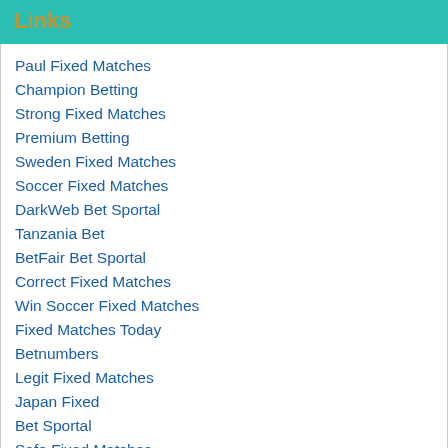Links
Paul Fixed Matches
Champion Betting
Strong Fixed Matches
Premium Betting
Sweden Fixed Matches
Soccer Fixed Matches
DarkWeb Bet Sportal
Tanzania Bet
BetFair Bet Sportal
Correct Fixed Matches
Win Soccer Fixed Matches
Fixed Matches Today
Betnumbers
Legit Fixed Matches
Japan Fixed
Bet Sportal
Safe Fixed Matches
GoalooUS Livescore
Scommesse Sportive
fixed match today
Sport Betting Tips